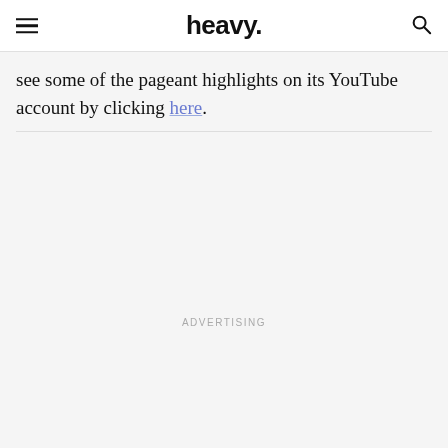heavy.
see some of the pageant highlights on its YouTube account by clicking here.
ADVERTISING